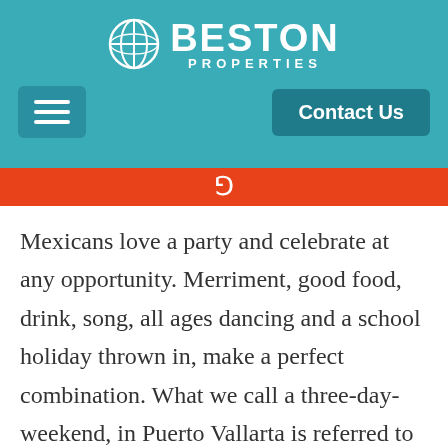[Figure (logo): Beston Properties logo with circular globe icon and text BESTON PROPERTIES on teal background header]
[Figure (screenshot): Navigation bar with hamburger menu button on left and Contact Us button on right, on teal background]
[Figure (infographic): Orange StumbleUpon bar with stumbleupon icon]
Mexicans love a party and celebrate at any opportunity. Merriment, good food, drink, song, all ages dancing and a school holiday thrown in, make a perfect combination. What we call a three-day-weekend, in Puerto Vallarta is referred to as a puente, which means bridge in Spanish. It basically stands for an extra day for travel and/or recovery from revelry.